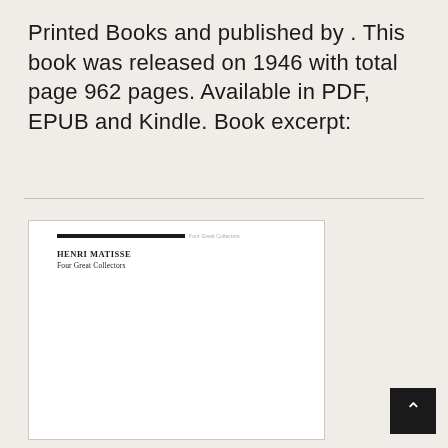Printed Books and published by . This book was released on 1946 with total page 962 pages. Available in PDF, EPUB and Kindle. Book excerpt:
[Figure (screenshot): Preview of a book page showing 'HENRI MATISSE Four Great Collectors' with a black horizontal line at the top and white page content below]